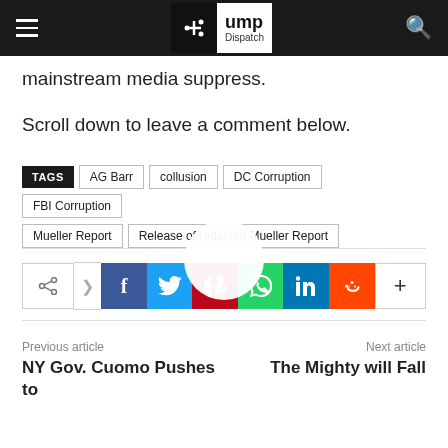Trump Dispatch
mainstream media suppress.
Scroll down to leave a comment below.
TAGS  AG Barr  collusion  DC Corruption  FBI Corruption  Mueller Report  Release of redacted Mueller Report
[Figure (infographic): Social media share buttons: share outline, Facebook, Twitter, Pinterest, WhatsApp, LinkedIn, Reddit, more (+)]
Previous article
NY Gov. Cuomo Pushes to
Next article
The Mighty will Fall